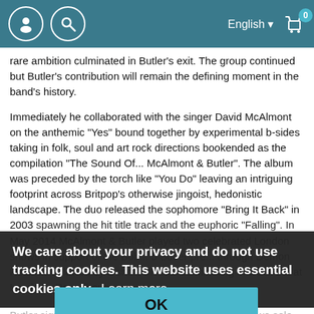English  [cart: 0]
rare ambition culminated in Butler's exit. The group continued but Butler's contribution will remain the defining moment in the band's history.
Immediately he collaborated with the singer David McAlmont on the anthemic "Yes" bound together by experimental b-sides taking in folk, soul and art rock directions bookended as the compilation "The Sound Of... McAlmont & Butler". The album was preceded by the torch like "You Do" leaving an intriguing footprint across Britpop's otherwise jingoist, hedonistic landscape. The duo released the sophomore "Bring It Back" in 2003 spawning the hit title track and the euphoric "Falling". In May 2014 McAlmont & Butler played two celebrated London shows in support of the Bob... In 2015 Butler pre... through Demon Records followed by a short UK tour culminating in a sell out at London's Roundhouse.
We care about your privacy and do not use tracking cookies. This website uses essential cookies only.  Learn more
OK
Butler signed to Creation Records in 1997 releasing two solo albums, the acclaimed "People Move On" yielding the hit single "Stay", and "Friends and Lovers" before the collapse of the legendary label. He then embarked on a string of productions including the seminal debut from The Libertines and